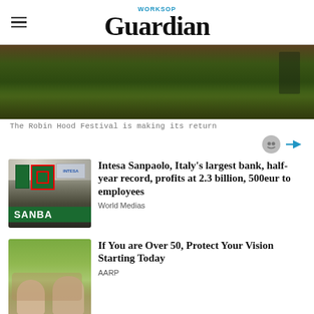WORKSOP Guardian
[Figure (photo): Outdoor scene with forest floor, moss and leaf litter, person partially visible]
The Robin Hood Festival is making its return
[Figure (photo): Intesa Sanpaolo bank signage with logo]
Intesa Sanpaolo, Italy's largest bank, half-year record, profits at 2.3 billion, 500eur to employees
World Medias
[Figure (photo): Two elderly people dining outdoors]
If You are Over 50, Protect Your Vision Starting Today
AARP